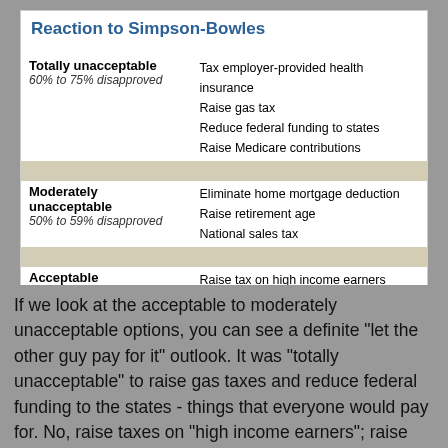Reaction to Simpson-Bowles
| Category | Items |
| --- | --- |
| Totally unacceptable
60% to 75% disapproved | Tax employer-provided health insurance
Raise gas tax
Reduce federal funding to states
Raise Medicare contributions |
| Moderately unacceptable
50% to 59% disapproved | Eliminate home mortgage deduction
Raise retirement age
National sales tax |
| Acceptable | Raise tax on high income earners
Freeze salaries of federal workers
Raise Social Security cap for affluent earners |
PEW RESEARCH CENTER Dec. 1-5, 2010 Q53a-e, g, h, j-l.
If we look at the acceptable to moderately unacceptable options, you can see a definite "let the other guy pay for it" outlook.  It was "totally unacceptable" to raise gas taxes and reduce federal funding to the states - things that everyone would pay for.  No, raise taxes on "high income earners"; raise Social Security contribution cap for "affluent earners", and create a national sales tax (rich people buy more, so they pay more).